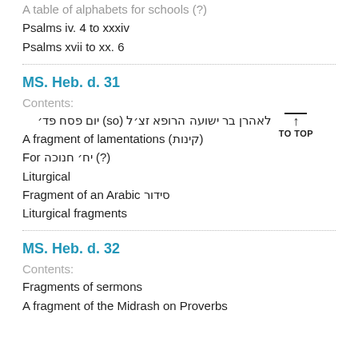A table of alphabets for schools (?)
Psalms iv. 4 to xxxiv
Psalms xvii to xx. 6
MS. Heb. d. 31
Contents:
לאהרן בר ישועה הרופא זצ׳ל (so) יום פסח פד׳
A fragment of lamentations (קינות)
For יח׳ חנוכה (?)
Liturgical
Fragment of an Arabic סידור
Liturgical fragments
MS. Heb. d. 32
Contents:
Fragments of sermons
A fragment of the Midrash on Proverbs